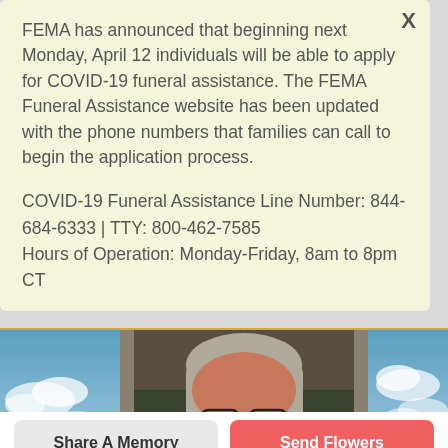FEMA has announced that beginning next Monday, April 12 individuals will be able to apply for COVID-19 funeral assistance. The FEMA Funeral Assistance website has been updated with the phone numbers that families can call to begin the application process.
COVID-19 Funeral Assistance Line Number: 844-684-6333 | TTY: 800-462-7585
Hours of Operation: Monday-Friday, 8am to 8pm CT
[Figure (photo): Three-panel photo strip showing: left panel - blue sky with white clouds, center panel - portrait photo of a middle-aged man with grey hair and glasses, right panel - blue sky with white clouds]
Share A Memory
Send Flowers